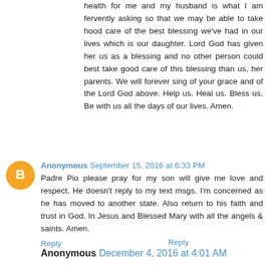health for me and my husband is what I am fervently asking so that we may be able to take hood care of the best blessing we've had in our lives which is our daughter. Lord God has given her us as a blessing and no other person could best take good care of this blessing than us, her parents. We will forever sing of your grace and of the Lord God above. Help us. Heal us. Bless us. Be with us all the days of our lives. Amen.
Reply
Anonymous September 15, 2016 at 6:33 PM
Padre Pio please pray for my son will give me love and respect. He doesn't reply to my text msgs. I'm concerned as he has moved to another state. Also return to his faith and trust in God. In Jesus and Blessed Mary with all the angels & saints. Amen.
Reply
Anonymous December 4, 2016 at 4:01 AM